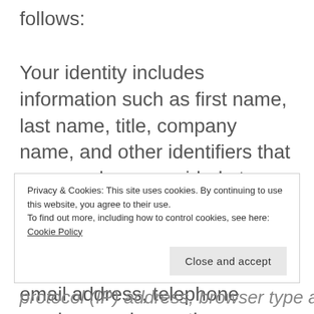follows:
Your identity includes information such as first name, last name, title, company name, and other identifiers that you may have provided at some time.
Your contact information includes information such as; email address, telephone numbers and any other
Privacy & Cookies: This site uses cookies. By continuing to use this website, you agree to their use.
To find out more, including how to control cookies, see here: Cookie Policy
Close and accept
protocol (IP) address, browser type and